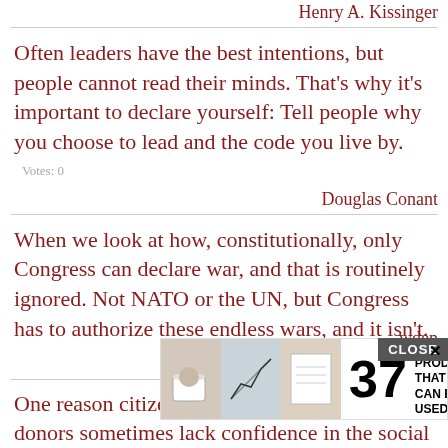Henry A. Kissinger
Often leaders have the best intentions, but people cannot read their minds. That's why it's important to declare yourself: Tell people why you choose to lead and the code you live by.
Votes: 0
Douglas Conant
When we look at how, constitutionally, only Congress can declare war, and that is routinely ignored. Not NATO or the UN, but Congress has to authorize these endless wars, and it isn't.
Votes: 0
[Figure (screenshot): Advertisement overlay with CLOSE button, showing '37 GENIUS AMAZON PRODUCTS THAT CAN BE USED BY ANYONE' with product images and 22Words logo]
wden
One reason citizens, politicians and university donors sometimes lack confidence in the social